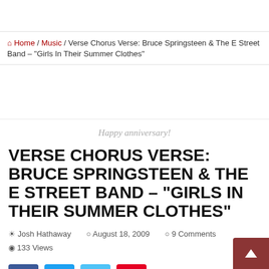⌂ Home / Music / Verse Chorus Verse: Bruce Springsteen & The E Street Band – "Girls In Their Summer Clothes"
Happy anniversary!
VERSE CHORUS VERSE: BRUCE SPRINGSTEEN & THE E STREET BAND – "GIRLS IN THEIR SUMMER CLOTHES"
Josh Hathaway   August 18, 2009   9 Comments
133 Views
[Figure (other): Social share buttons: Facebook (blue), Twitter (light blue), LinkedIn (light blue), Pinterest (red)]
In a lovely twist of fate, my ninth entry in the "Verse Chorus Verse"